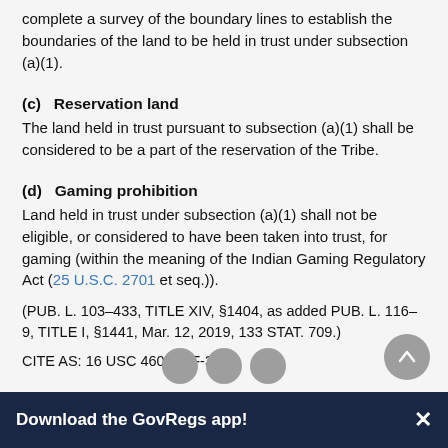complete a survey of the boundary lines to establish the boundaries of the land to be held in trust under subsection (a)(1).
(c)  Reservation land
The land held in trust pursuant to subsection (a)(1) shall be considered to be a part of the reservation of the Tribe.
(d)  Gaming prohibition
Land held in trust under subsection (a)(1) shall not be eligible, or considered to have been taken into trust, for gaming (within the meaning of the Indian Gaming Regulatory Act (25 U.S.C. 2701 et seq.)).
(PUB. L. 103–433, TITLE XIV, §1404, as added PUB. L. 116–9, TITLE I, §1441, Mar. 12, 2019, 133 STAT. 709.)
CITE AS: 16 USC 460FFFF-3
Download the GovRegs app!